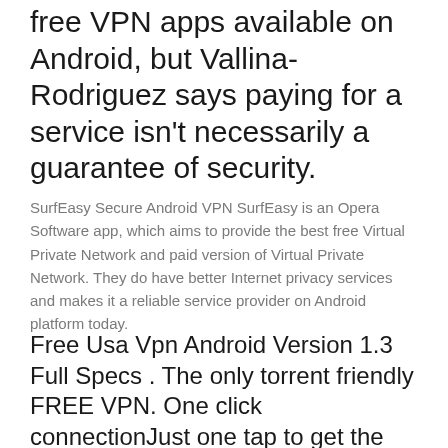free VPN apps available on Android, but Vallina-Rodriguez says paying for a service isn't necessarily a guarantee of security.
SurfEasy Secure Android VPN SurfEasy is an Opera Software app, which aims to provide the best free Virtual Private Network and paid version of Virtual Private Network. They do have better Internet privacy services and makes it a reliable service provider on Android platform today.
Free Usa Vpn Android Version 1.3 Full Specs . The only torrent friendly FREE VPN. One click connectionJust one tap to get the best VPN service ever. 2017: Date Added: August 18, 2017